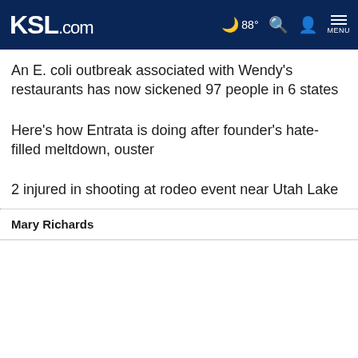KSL.com  88°  MENU
An E. coli outbreak associated with Wendy's restaurants has now sickened 97 people in 6 states
Here's how Entrata is doing after founder's hate-filled meltdown, ouster
2 injured in shooting at rodeo event near Utah Lake
Mary Richards
Cookie Notice
We use cookies to improve your experience, analyze site traffic, and to personalize content and ads. By continuing to use our site, you consent to our use of cookies. Please visit our Terms of Use and Privacy Policy for more information.
Continue